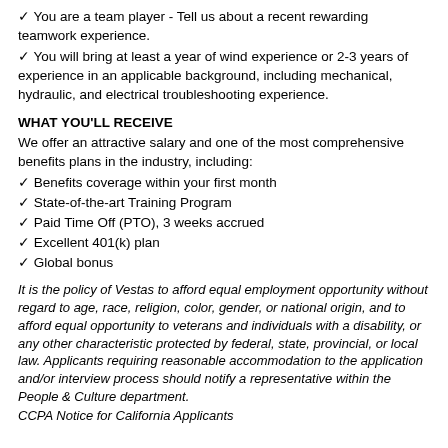✓ You are a team player - Tell us about a recent rewarding teamwork experience.
✓ You will bring at least a year of wind experience or 2-3 years of experience in an applicable background, including mechanical, hydraulic, and electrical troubleshooting experience.
WHAT YOU'LL RECEIVE
We offer an attractive salary and one of the most comprehensive benefits plans in the industry, including:
✓ Benefits coverage within your first month
✓ State-of-the-art Training Program
✓ Paid Time Off (PTO), 3 weeks accrued
✓ Excellent 401(k) plan
✓ Global bonus
It is the policy of Vestas to afford equal employment opportunity without regard to age, race, religion, color, gender, or national origin, and to afford equal opportunity to veterans and individuals with a disability, or any other characteristic protected by federal, state, provincial, or local law. Applicants requiring reasonable accommodation to the application and/or interview process should notify a representative within the People & Culture department.
CCPA Notice for California Applicants